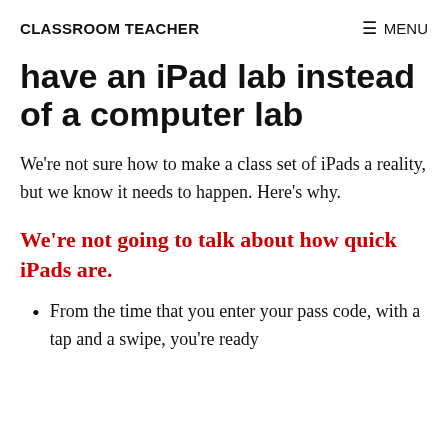CLASSROOM TEACHER   ☰ MENU
have an iPad lab instead of a computer lab
We're not sure how to make a class set of iPads a reality, but we know it needs to happen. Here's why.
We're not going to talk about how quick iPads are.
From the time that you enter your pass code, with a tap and a swipe, you're ready